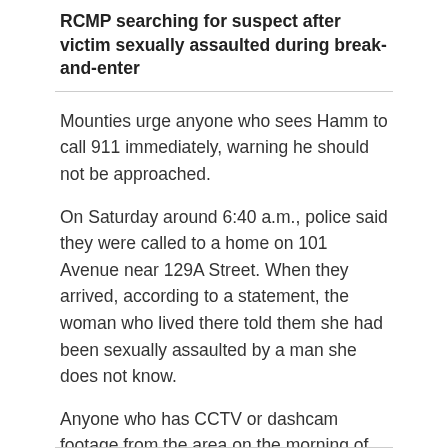RCMP searching for suspect after victim sexually assaulted during break-and-enter
Mounties urge anyone who sees Hamm to call 911 immediately, warning he should not be approached.
On Saturday around 6:40 a.m., police said they were called to a home on 101 Avenue near 129A Street. When they arrived, according to a statement, the woman who lived there told them she had been sexually assaulted by a man she does not know.
Anyone who has CCTV or dashcam footage from the area on the morning of May 21 is asked to call 604-599-0502.